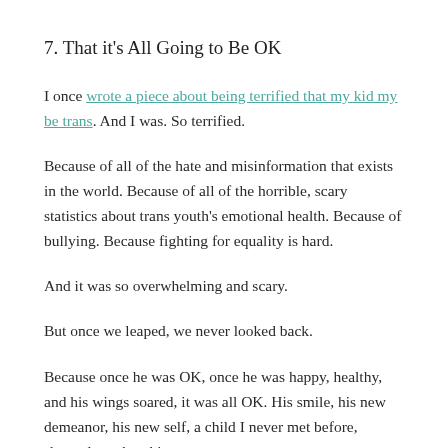7. That it's All Going to Be OK
I once wrote a piece about being terrified that my kid my be trans. And I was. So terrified.
Because of all of the hate and misinformation that exists in the world. Because of all of the horrible, scary statistics about trans youth's emotional health. Because of bullying. Because fighting for equality is hard.
And it was so overwhelming and scary.
But once we leaped, we never looked back.
Because once he was OK, once he was happy, healthy, and his wings soared, it was all OK. His smile, his new demeanor, his new self, a child I never met before, showed me that this